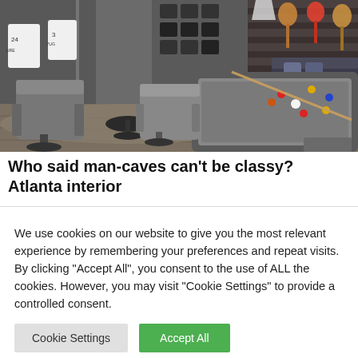[Figure (photo): Interior photo of a luxurious man-cave room featuring a pool table in the foreground, leather chairs, baseball jerseys (#24 and #3) displayed on the left wall, modern lighting panels on the back wall, guitars hanging on the right wall, and dark hardwood flooring with a patterned area rug.]
Who said man-caves can't be classy? Atlanta interior
We use cookies on our website to give you the most relevant experience by remembering your preferences and repeat visits. By clicking "Accept All", you consent to the use of ALL the cookies. However, you may visit "Cookie Settings" to provide a controlled consent.